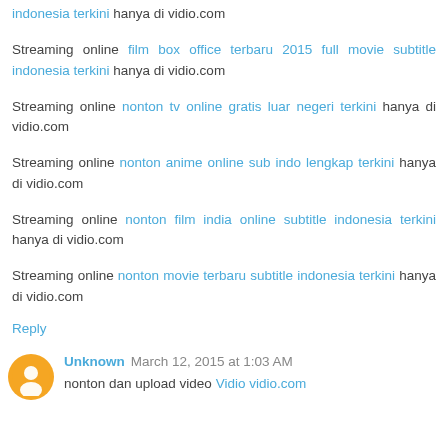indonesia terkini hanya di vidio.com
Streaming online film box office terbaru 2015 full movie subtitle indonesia terkini hanya di vidio.com
Streaming online nonton tv online gratis luar negeri terkini hanya di vidio.com
Streaming online nonton anime online sub indo lengkap terkini hanya di vidio.com
Streaming online nonton film india online subtitle indonesia terkini hanya di vidio.com
Streaming online nonton movie terbaru subtitle indonesia terkini hanya di vidio.com
Reply
Unknown March 12, 2015 at 1:03 AM
nonton dan upload video Vidio vidio.com